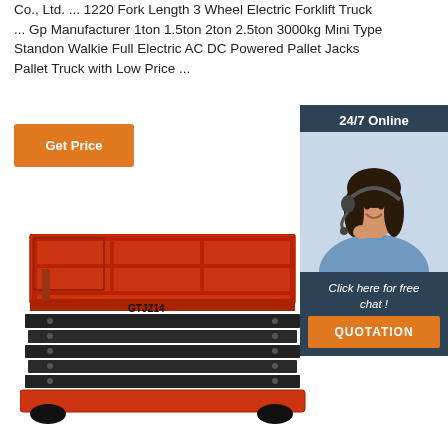Co., Ltd. ... 1220 Fork Length 3 Wheel Electric Forklift Truck ... Gp Manufacturer 1ton 1.5ton 2ton 2.5ton 3000kg Mini Type Standon Walkie Full Electric AC DC Powered Pallet Jacks Pallet Truck with Low Price ...
Get Price
24/7 Online
[Figure (photo): Customer service representative woman wearing headset, smiling]
Click here for free chat !
QUOTATION
[Figure (photo): Red scissor lift platform labeled GTJZ14 with extended scissor mechanism and dark base]